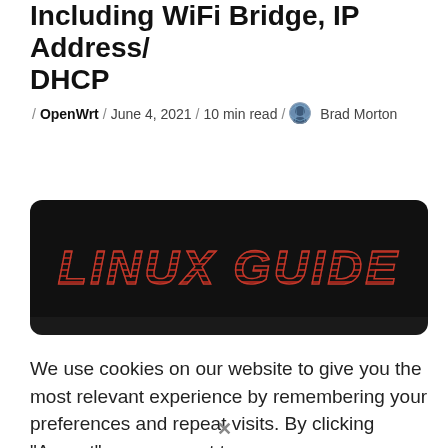Including WiFi Bridge, IP Address, DHCP
/ OpenWrt / June 4, 2021 / 10 min read / Brad Morton
[Figure (illustration): Dark banner image with stylized italic red text reading 'LINUX GUIDE' with horizontal line texture effect on a black rounded-rectangle background]
We use cookies on our website to give you the most relevant experience by remembering your preferences and repeat visits. By clicking "Accept", you consent to